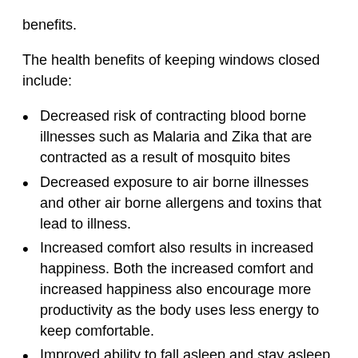benefits.
The health benefits of keeping windows closed include:
Decreased risk of contracting blood borne illnesses such as Malaria and Zika that are contracted as a result of mosquito bites
Decreased exposure to air borne illnesses and other air borne allergens and toxins that lead to illness.
Increased comfort also results in increased happiness. Both the increased comfort and increased happiness also encourage more productivity as the body uses less energy to keep comfortable.
Improved ability to fall asleep and stay asleep longer. Science has proven that people sleep better in cooler temperatures. Getting a quality night of sleep also increases our overall happiness and productivity.